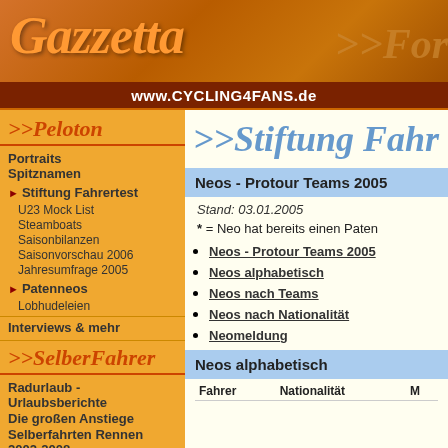Gazzetta - www.CYCLING4FANS.de
>>Peloton
Portraits
Spitznamen
Stiftung Fahrertest
U23 Mock List
Steamboats
Saisonbilanzen
Saisonvorschau 2006
Jahresumfrage 2005
Patenneos
Lobhudeleien
Interviews & mehr
>>SelberFahrer
Radurlaub - Urlaubsberichte
Die großen Anstiege
Selberfahrten Rennen 2002-2008
Radlerprosa
>>Informatives
>>Stiftung Fahr
Neos - Protour Teams 2005
Stand: 03.01.2005
* = Neo hat bereits einen Paten
Neos - Protour Teams 2005
Neos alphabetisch
Neos nach Teams
Neos nach Nationalität
Neomeldung
Neos alphabetisch
| Fahrer | Nationalität | M |
| --- | --- | --- |